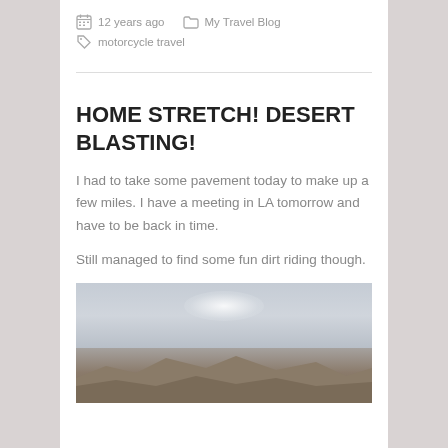12 years ago   My Travel Blog   motorcycle travel
HOME STRETCH! DESERT BLASTING!
I had to take some pavement today to make up a few miles. I have a meeting in LA tomorrow and have to be back in time.
Still managed to find some fun dirt riding though.
[Figure (photo): Desert landscape with hazy sky and low hills or mountains in the distance, overcast light with a bright glow in the upper center of the image.]